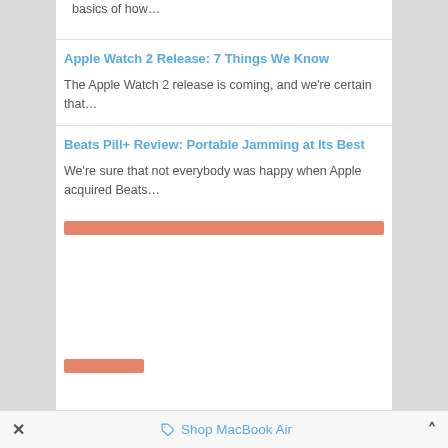basics of how…
Apple Watch 2 Release: 7 Things We Know
The Apple Watch 2 release is coming, and we're certain that…
Beats Pill+ Review: Portable Jamming at Its Best
We're sure that not everybody was happy when Apple acquired Beats…
[Figure (other): Orange/salmon colored horizontal bar element (advertisement or divider)]
[Figure (other): Small orange/salmon colored bar element (advertisement or button)]
✕   🏷 Shop MacBook Air   ˄